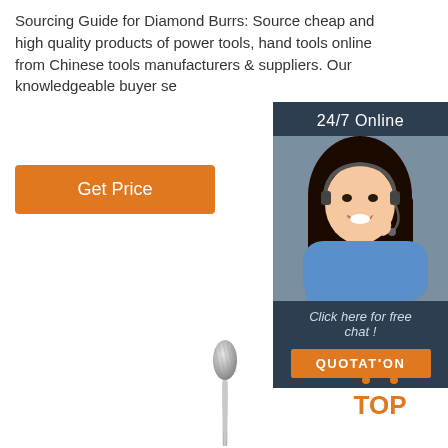Sourcing Guide for Diamond Burrs: Source cheap and high quality products of power tools, hand tools online from Chinese tools manufacturers & suppliers. Our knowledgeable buyer se
[Figure (other): Orange 'Get Price' button]
[Figure (other): Sidebar with dark blue background showing '24/7 Online' label, a photo of a smiling woman with a headset, 'Click here for free chat!' text, and an orange 'QUOTATION' button]
[Figure (other): Product image of a diamond burr/rotary tool bit on a long thin shank, silver metallic]
[Figure (other): Orange 'TOP' logo with dot triangle above the text]